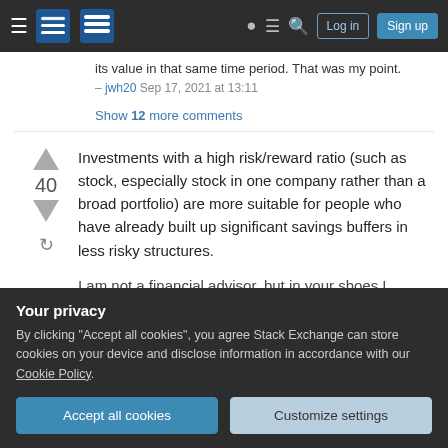Stack Exchange navigation bar with Log in and Sign up buttons
its value in that same time period. That was my point. – jwh20 Sep 17, 2021 at 13:11
Show 12 more comments
Investments with a high risk/reward ratio (such as stock, especially stock in one company rather than a broad portfolio) are more suitable for people who have already built up significant savings buffers in less risky structures.
I am not a financial advisor, but in your shoes I
Your privacy
By clicking "Accept all cookies", you agree Stack Exchange can store cookies on your device and disclose information in accordance with our Cookie Policy.
Accept all cookies | Customize settings